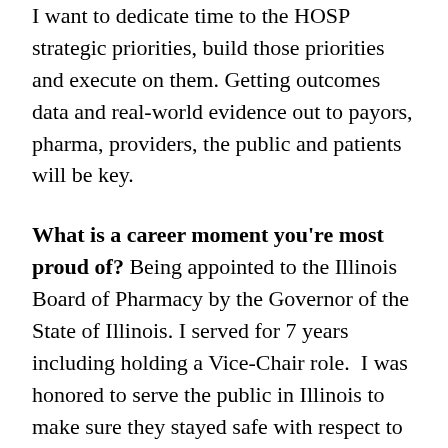I want to dedicate time to the HOSP strategic priorities, build those priorities and execute on them. Getting outcomes data and real-world evidence out to payors, pharma, providers, the public and patients will be key.
What is a career moment you're most proud of? Being appointed to the Illinois Board of Pharmacy by the Governor of the State of Illinois. I served for 7 years including holding a Vice-Chair role. I was honored to serve the public in Illinois to make sure they stayed safe with respect to everything medication-related.
If you weren't in this space, what other